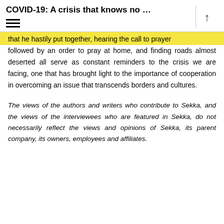COVID-19: A crisis that knows no …
that he hastily put together, hearing the call to prayer followed by an order to pray at home, and finding roads almost deserted all serve as constant reminders to the crisis we are facing, one that has brought light to the importance of cooperation in overcoming an issue that transcends borders and cultures.
The views of the authors and writers who contribute to Sekka, and the views of the interviewees who are featured in Sekka, do not necessarily reflect the views and opinions of Sekka, its parent company, its owners, employees and affiliates.